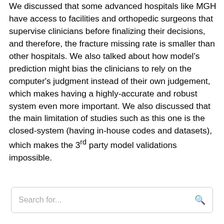We discussed that some advanced hospitals like MGH have access to facilities and orthopedic surgeons that supervise clinicians before finalizing their decisions, and therefore, the fracture missing rate is smaller than other hospitals. We also talked about how model's prediction might bias the clinicians to rely on the computer's judgment instead of their own judgement, which makes having a highly-accurate and robust system even more important. We also discussed that the main limitation of studies such as this one is the closed-system (having in-house codes and datasets), which makes the 3rd party model validations impossible.